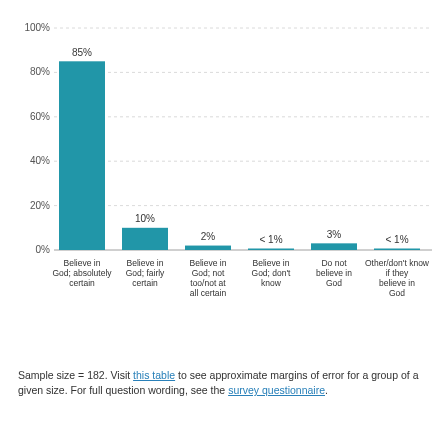[Figure (bar-chart): ]
Sample size = 182. Visit this table to see approximate margins of error for a group of a given size. For full question wording, see the survey questionnaire.